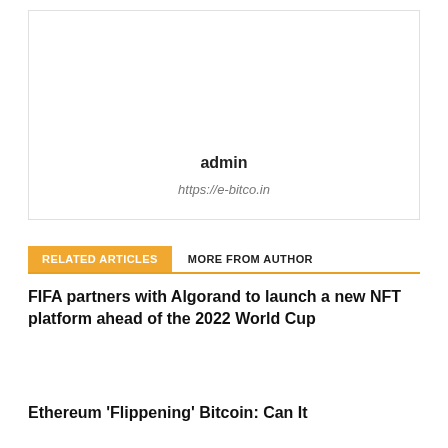admin
https://e-bitco.in
RELATED ARTICLES   MORE FROM AUTHOR
FIFA partners with Algorand to launch a new NFT platform ahead of the 2022 World Cup
Ethereum ‘Flippening’ Bitcoin: Can It